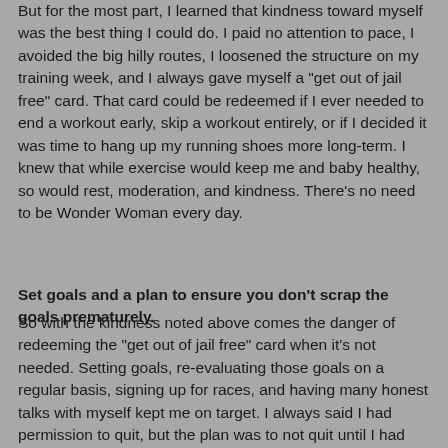But for the most part, I learned that kindness toward myself was the best thing I could do. I paid no attention to pace, I avoided the big hilly routes, I loosened the structure on my training week, and I always gave myself a "get out of jail free" card. That card could be redeemed if I ever needed to end a workout early, skip a workout entirely, or if I decided it was time to hang up my running shoes more long-term. I knew that while exercise would keep me and baby healthy, so would rest, moderation, and kindness. There's no need to be Wonder Woman every day.
Set goals and a plan to ensure you don't scrap the goals prematurely.
So with the kindness noted above comes the danger of redeeming the "get out of jail free" card when it's not needed. Setting goals, re-evaluating those goals on a regular basis, signing up for races, and having many honest talks with myself kept me on target. I always said I had permission to quit, but the plan was to not quit until I had enough evidence that quitting was the right thing to do. One bad run wasn't enough to say "I'm done". I had plenty bad runs, but they were almost always followed up with an OK run, a good run,